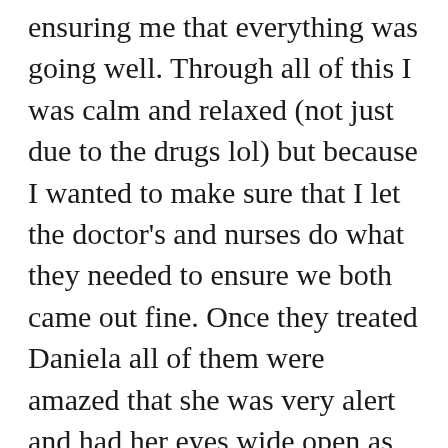ensuring me that everything was going well. Through all of this I was calm and relaxed (not just due to the drugs lol) but because I wanted to make sure that I let the doctor's and nurses do what they needed to ensure we both came out fine. Once they treated Daniela all of them were amazed that she was very alert and had her eyes wide open as you could see from the pictures taken by one of the nurses. It was not the birth plan that I had hoped for but in the end, all turned out well for us.